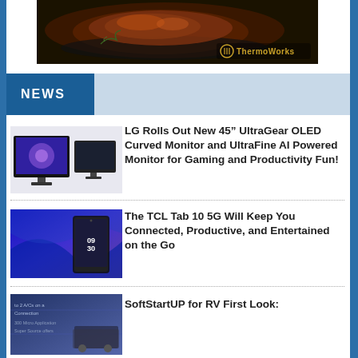[Figure (photo): ThermoWorks advertisement banner showing a steak cooking in a cast iron skillet with rosemary, dark background, ThermoWorks logo in gold/yellow in bottom right]
NEWS
[Figure (photo): LG UltraGear OLED curved monitor and UltraFine AI Powered Monitor product images side by side]
LG Rolls Out New 45” UltraGear OLED Curved Monitor and UltraFine AI Powered Monitor for Gaming and Productivity Fun!
[Figure (photo): TCL Tab 10 5G tablet showing time 09:30 on a blue/purple gradient background]
The TCL Tab 10 5G Will Keep You Connected, Productive, and Entertained on the Go
[Figure (photo): SoftStartUP for RV product image with blue background and text]
SoftStartUP for RV First Look: